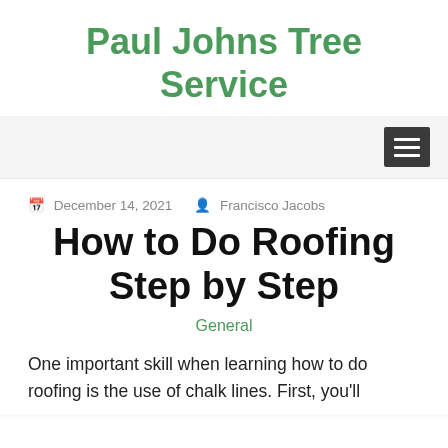Paul Johns Tree Service
December 14, 2021   Francisco Jacobs
How to Do Roofing Step by Step
General
One important skill when learning how to do roofing is the use of chalk lines. First, you'll